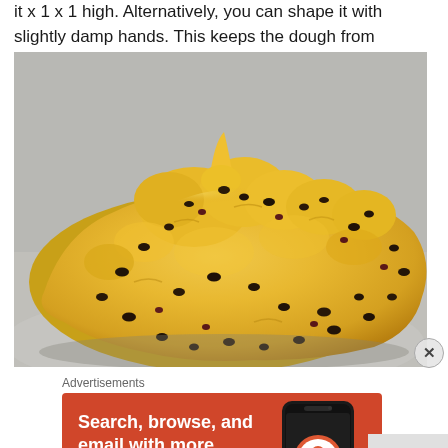it x 1 x 1 high. Alternatively, you can shape it with slightly damp hands. This keeps the dough from sticking to your hands.
[Figure (photo): Close-up photo of a mound of chunky chocolate chip cookie dough on a light surface, showing the rough, crumbly texture with visible chocolate chips and dried fruit pieces throughout the yellow-golden dough.]
Advertisements
[Figure (screenshot): DuckDuckGo advertisement banner on orange-red background with text 'Search, browse, and email with more privacy. All in One Free App' and an image of a smartphone showing the DuckDuckGo app with the duck logo.]